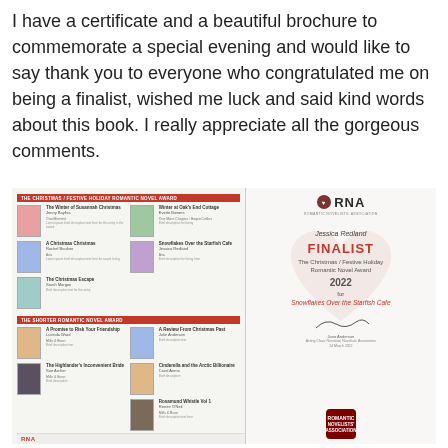I have a certificate and a beautiful brochure to commemorate a special evening and would like to say thank you to everyone who congratulated me on being a finalist, wished me luck and said kind words about this book. I really appreciate all the gorgeous comments.
[Figure (photo): Photo of an RNA (Romantic Novelists' Association) finalist certificate for Jessica Redland alongside a brochure. The certificate reads: Jessica Redland, FINALIST, The Christmas / Festive Holiday Romantic Novel Award 2022, for Snowflakes Over the Starfish Cafe. The brochure shows book listings under 'The Christmas / Festive Holiday Romantic Novel Award' and 'The Shorter Romantic Novel Award' categories with book covers and descriptions.]